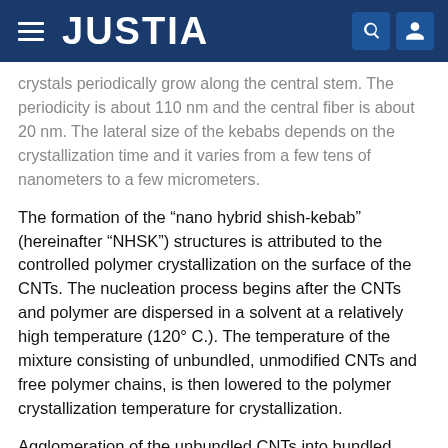JUSTIA
crystals periodically grow along the central stem. The periodicity is about 110 nm and the central fiber is about 20 nm. The lateral size of the kebabs depends on the crystallization time and it varies from a few tens of nanometers to a few micrometers.
The formation of the “nano hybrid shish-kebab” (hereinafter “NHSK”) structures is attributed to the controlled polymer crystallization on the surface of the CNTs. The nucleation process begins after the CNTs and polymer are dispersed in a solvent at a relatively high temperature (120° C.). The temperature of the mixture consisting of unbundled, unmodified CNTs and free polymer chains, is then lowered to the polymer crystallization temperature for crystallization.
Agglomeration of the unbundled CNTs into bundled